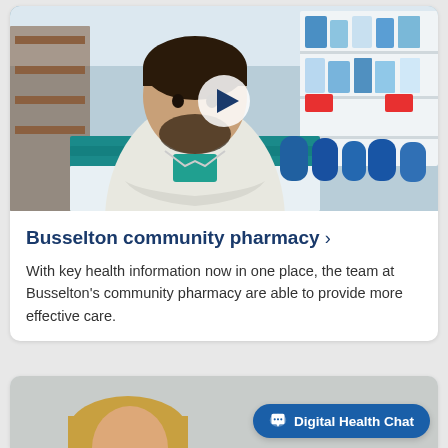[Figure (photo): Pharmacist with arms crossed standing in a pharmacy, shelves with health products visible in the background, with a video play button overlay]
Busselton community pharmacy ›
With key health information now in one place, the team at Busselton's community pharmacy are able to provide more effective care.
[Figure (photo): Partial view of a person, bottom of page card, with Digital Health Chat button overlay]
Digital Health Chat